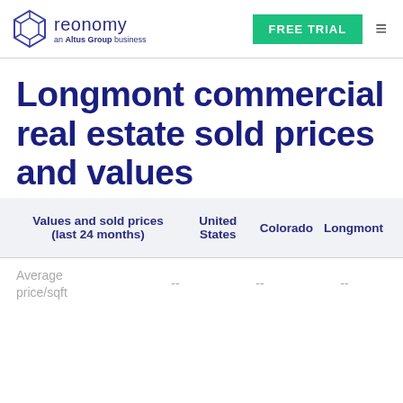reonomy | an Altus Group business | FREE TRIAL
Longmont commercial real estate sold prices and values
| Values and sold prices (last 24 months) | United States | Colorado | Longmont |
| --- | --- | --- | --- |
| Average price/sqft | -- | -- | -- |
Average price/sqft -- -- --